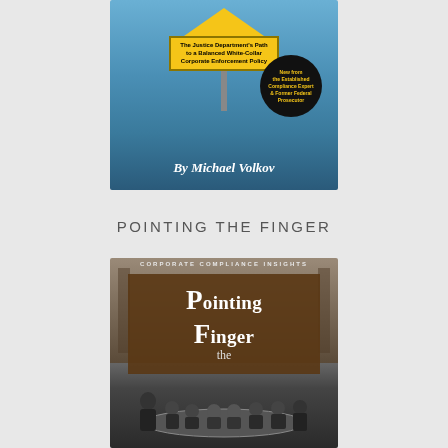[Figure (illustration): Book cover for a legal compliance book by Michael Volkov. Features a yellow road sign with text 'The Justice Department's Path to a Balanced White-Collar Corporate Enforcement Policy', a black circular badge reading 'New from the Established Compliance Expert & Former Federal Prosecutor', and the author name 'By Michael Volkov' on a blue sky background.]
POINTING THE FINGER
[Figure (illustration): Book cover for 'Pointing the Finger' published by Corporate Compliance Insights. Features a stylized title with large decorative capital letters P and F in 'Pointing' and 'Finger'. Below is a black and white photograph of a group of men seated around a table in what appears to be a courtroom or formal meeting setting.]